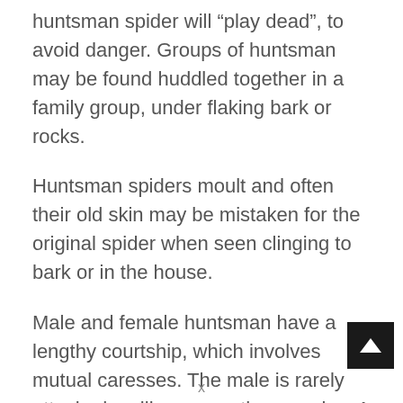huntsman spider will “play dead”, to avoid danger. Groups of huntsman may be found huddled together in a family group, under flaking bark or rocks.
Huntsman spiders moult and often their old skin may be mistaken for the original spider when seen clinging to bark or in the house.
Male and female huntsman have a lengthy courtship, which involves mutual caresses. The male is rarely attacked, unlike some other species. A female huntsman places her egg sac under bark or a rock, then stands guard over it. She tears the egg sac open to help the spiderlings emerge and stays with th…
x